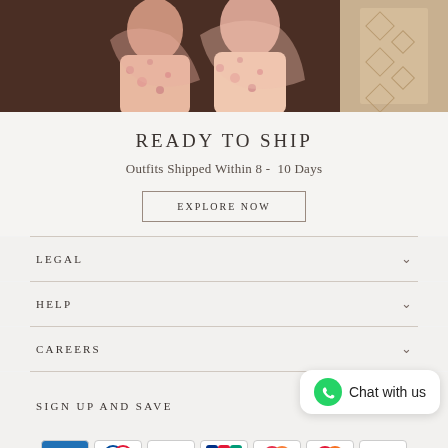[Figure (photo): Two women wearing pink floral traditional outfits/sarees, partially visible from mid-torso up, with decorative background]
READY TO SHIP
Outfits Shipped Within 8 - 10 Days
EXPLORE NOW
LEGAL
HELP
CAREERS
SIGN UP AND SAVE
Chat with us
[Figure (logo): Payment method icons: American Express, Diners Club, Discover, JCB, Maestro, Mastercard, Visa]